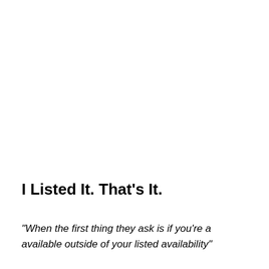I Listed It. That's It.
"When the first thing they ask is if you're a available outside of your listed availability"